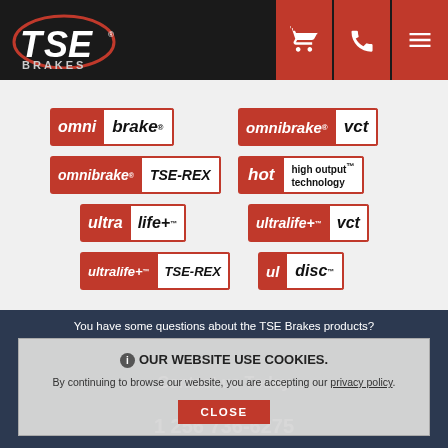[Figure (logo): TSE Brakes logo with shopping cart, phone, and menu icons in header]
[Figure (logo): omni brake brand logo - red and white badge]
[Figure (logo): omnibrake vct brand logo - red badge]
[Figure (logo): omnibrake TSE-REX brand logo - red and white badge]
[Figure (logo): hot high output technology brand logo - red and white badge]
[Figure (logo): ultra life+ brand logo - red badge]
[Figure (logo): ultralife+ vct brand logo - red badge]
[Figure (logo): ultralife+ TSE-REX brand logo - red badge]
[Figure (logo): ul disc brand logo - red badge]
You have some questions about the TSE Brakes products? Contact us Today
1 256 736-6275
OUR WEBSITE USE COOKIES. By continuing to browse our website, you are accepting our privacy policy.
CLOSE